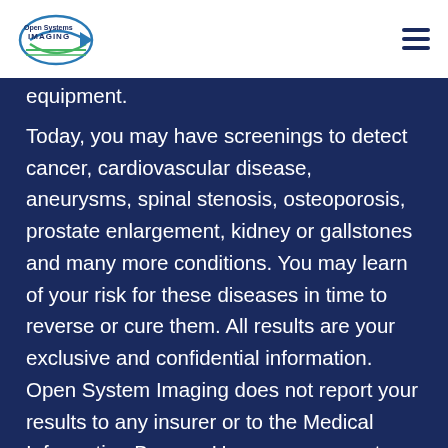Open System Imaging logo and navigation menu
equipment.
Today, you may have screenings to detect cancer, cardiovascular disease, aneurysms, spinal stenosis, osteoporosis, prostate enlargement, kidney or gallstones and many more conditions. You may learn of your risk for these diseases in time to reverse or cure them. All results are your exclusive and confidential information. Open System Imaging does not report your results to any insurer or to the Medical Information Bureau. Upon your request, your findings may be sent to your physician. At Open System Imaging, our desire to is to partner with you and your physician. Our goal is to empower you with information to keep you in optimum health and